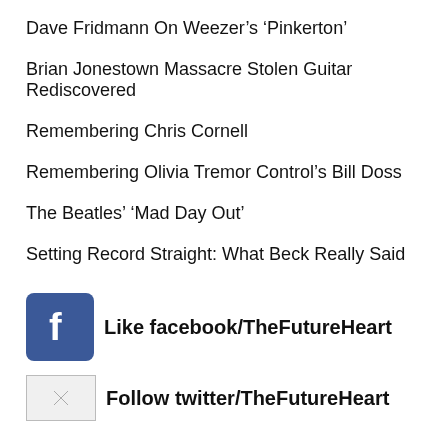Dave Fridmann On Weezer’s ‘Pinkerton’
Brian Jonestown Massacre Stolen Guitar Rediscovered
Remembering Chris Cornell
Remembering Olivia Tremor Control’s Bill Doss
The Beatles’ ‘Mad Day Out’
Setting Record Straight: What Beck Really Said
[Figure (logo): Facebook logo icon (blue square with white f)]
Like facebook/TheFutureHeart
[Figure (logo): Twitter logo placeholder image (broken image box)]
Follow twitter/TheFutureHeart